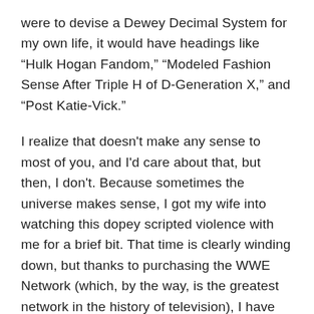were to devise a Dewey Decimal System for my own life, it would have headings like “Hulk Hogan Fandom,” “Modeled Fashion Sense After Triple H of D-Generation X,” and “Post Katie-Vick.”
I realize that doesn't make any sense to most of you, and I'd care about that, but then, I don't. Because sometimes the universe makes sense, I got my wife into watching this dopey scripted violence with me for a brief bit. That time is clearly winding down, but thanks to purchasing the WWE Network (which, by the way, is the greatest network in the history of television), I have access to WrestleMania this weekend, and we’re having friends over to watch it.
Being the good host that I am, I’ve taken the liberty of preparing a primer for my guests regarding every match on the card. I’ve written this from an